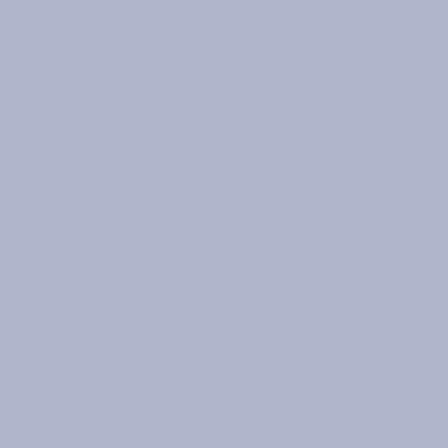[Figure (photo): Partial photo of Kazukas craft item, cropped at top]
Kazukas
Temari
[Figure (photo): Hand holding a colorful embroidered temari ball with multicolored geometric patterns]
The art of temari needlework, which c... colorful embroidered when many multic... resemble kaleidosco... mothers used to ma... Japan . It turns out
Further about temari
NEX
Copyright ©2004-2011 by Irina Astratenko. All right... In order to copy the content of the site you should co... n info[AT